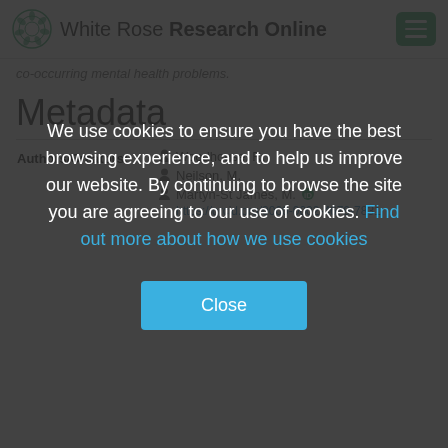White Rose Research Online
co-occurring mental health problems.
Metadata
| Field | Value |
| --- | --- |
| Authors/Creators: | Woodhouse, R.
Neilson, M.
Martyn-St James, M.
https://orcid.org/0000-0002-4679-7831 |
We use cookies to ensure you have the best browsing experience, and to help us improve our website. By continuing to browse the site you are agreeing to our use of cookies. Find out more about how we use cookies
Close